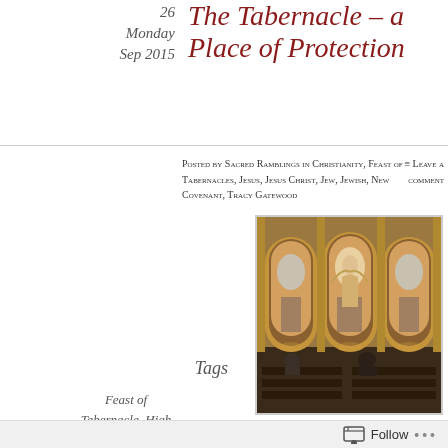26
Monday
Sep 2015
The Tabernacle – a Place of Protection
Posted by Sacred Ramblings in Christianity, Feast of Tabernacles, Jesus, Jesus Christ, Jew, Jewish, New Covenant, Tracy Gatewood
≡ Leave a comment
Tags
Feast of Tabernacle, High Priest, Jesus, Jewish, Psalm 91, Secret Place, Tabernacle,
[Figure (photo): Interior of an ornate church or basilica showing gilded arches with large religious paintings/altarpieces, wooden pews with congregation members seated, warm golden lighting]